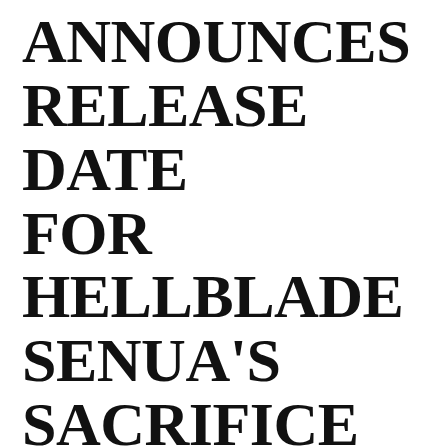ANNOUNCES RELEASE DATE FOR HELLBLADE SENUA'S SACRIFICE
© JUNE 6, 2017   🗨 LEAVE A COMMENT
On Monday, developer Ninja Theory teased us with news that an announcement would be coming